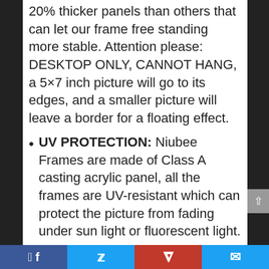20% thicker panels than others that can let our frame free standing more stable. Attention please: DESKTOP ONLY, CANNOT HANG, a 5×7 inch picture will go to its edges, and a smaller picture will leave a border for a floating effect.
UV PROTECTION: Niubee Frames are made of Class A casting acrylic panel, all the frames are UV-resistant which can protect the picture from fading under sun light or fluorescent light.
EASY FOR ASSEMBLY- Two (12+12mm) blocks hold the picture
Facebook | Twitter | Pinterest | Email